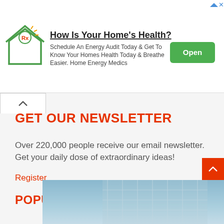[Figure (infographic): Advertisement banner: house icon with medical cross, headline 'How Is Your Home's Health?', body text about energy audit, green 'Open' button, and close/info icons top right.]
GET OUR NEWSLETTER
Over 220,000 people receive our email newsletter. Get your daily dose of extraordinary ideas!
Register
POPULAR STORIES
[Figure (photo): Partial photo of a building structure against a blue sky, showing scaffolding or grid-like facade.]